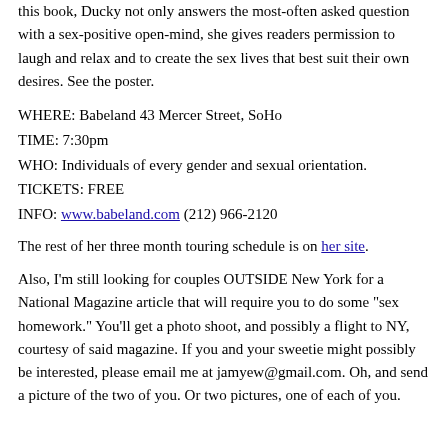this book, Ducky not only answers the most-often asked question with a sex-positive open-mind, she gives readers permission to laugh and relax and to create the sex lives that best suit their own desires. See the poster.
WHERE: Babeland 43 Mercer Street, SoHo
TIME: 7:30pm
WHO: Individuals of every gender and sexual orientation.
TICKETS: FREE
INFO: www.babeland.com (212) 966-2120
The rest of her three month touring schedule is on her site.
Also, I'm still looking for couples OUTSIDE New York for a National Magazine article that will require you to do some "sex homework." You'll get a photo shoot, and possibly a flight to NY, courtesy of said magazine. If you and your sweetie might possibly be interested, please email me at jamyew@gmail.com. Oh, and send a picture of the two of you. Or two pictures, one of each of you.